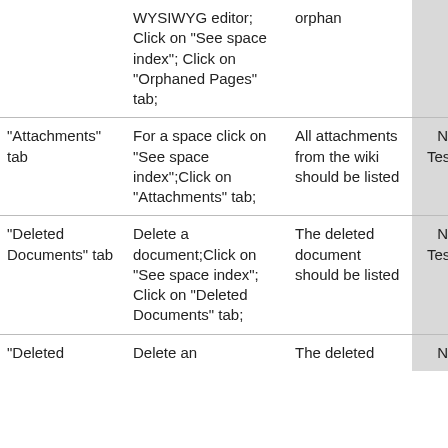|  | WYSIWYG editor; Click on "See space index"; Click on "Orphaned Pages" tab; | orphan |  |  |
| "Attachments" tab | For a space click on "See space index";Click on "Attachments" tab; | All attachments from the wiki should be listed | Not Tested | - |
| "Deleted Documents" tab | Delete a document;Click on "See space index"; Click on "Deleted Documents" tab; | The deleted document should be listed | Not Tested | - |
| "Deleted | Delete an | The deleted | Not | - |